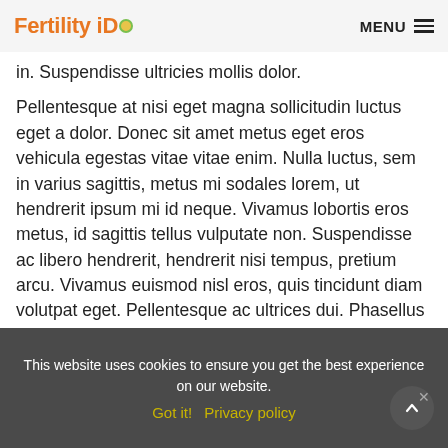Fertility iD  MENU
in. Suspendisse ultricies mollis dolor.
Pellentesque at nisi eget magna sollicitudin luctus eget a dolor. Donec sit amet metus eget eros vehicula egestas vitae vitae enim. Nulla luctus, sem in varius sagittis, metus mi sodales lorem, ut hendrerit ipsum mi id neque. Vivamus lobortis eros metus, id sagittis tellus vulputate non. Suspendisse ac libero hendrerit, hendrerit nisi tempus, pretium arcu. Vivamus euismod nisl eros, quis tincidunt diam volutpat eget. Pellentesque ac ultrices dui. Phasellus at nunc nunc. Nulla facilisi. Sed tempus tempus finibus. Donec vehicula dui ut dui convallis mollis. Donec egestas, eros id aliquam volutpat, ante nunc ullamcorper arcu, ac scelerisque sem nulla at augue. Aliquam a dui in purus vestibulum tincidunt. Phasellus semper pretium libero ac semper.
This website uses cookies to ensure you get the best experience on our website.
Got it!  Privacy policy